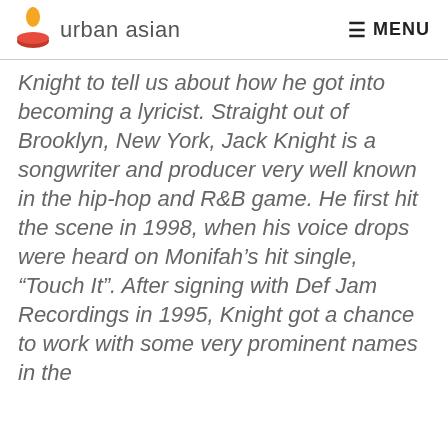urban asian   MENU
Knight to tell us about how he got into becoming a lyricist. Straight out of Brooklyn, New York, Jack Knight is a songwriter and producer very well known in the hip-hop and R&B game. He first hit the scene in 1998, when his voice drops were heard on Monifah's hit single, “Touch It”. After signing with Def Jam Recordings in 1995, Knight got a chance to work with some very prominent names in the